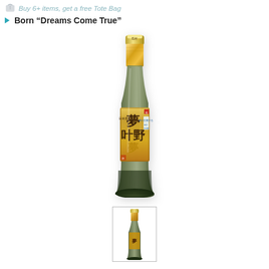Buy 6+ items, get a free Tote Bag
Born “Dreams Come True”
[Figure (photo): A bottle of Born sake with a dark olive-green glass body and a gold label featuring Japanese calligraphy. The bottle has a gold foil neck wrap and tapers to a round base. The label reads 'Dreams Come True' in Japanese characters on a golden background.]
[Figure (photo): Small thumbnail image of the same Born sake bottle shown above.]